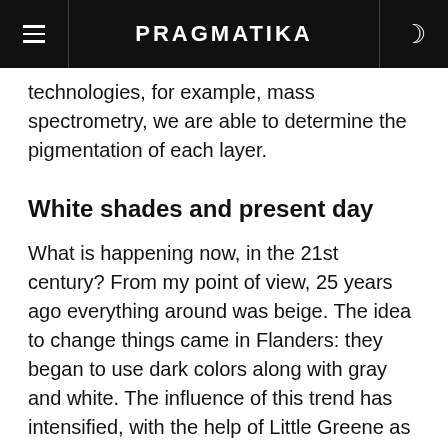PRAGMATIKA
technologies, for example, mass spectrometry, we are able to determine the pigmentation of each layer.
White shades and present day
What is happening now, in the 21st century? From my point of view, 25 years ago everything around was beige. The idea to change things came in Flanders: they began to use dark colors along with gray and white. The influence of this trend has intensified, with the help of Little Greene as well. For example, we developed such a range of gray shades (shows) to help people navigate the nuances of gray. Then there was a misconception that there is only one gray — a mixture of white and black. Following the principle of complexity